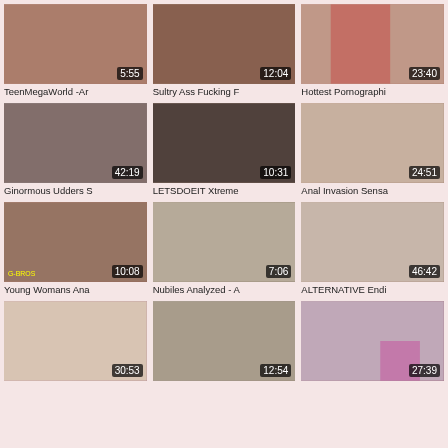[Figure (screenshot): Video thumbnail 1]
[Figure (screenshot): Video thumbnail 2]
[Figure (screenshot): Video thumbnail 3]
[Figure (screenshot): Video thumbnail 4]
[Figure (screenshot): Video thumbnail 5]
[Figure (screenshot): Video thumbnail 6]
[Figure (screenshot): Video thumbnail 7]
[Figure (screenshot): Video thumbnail 8]
[Figure (screenshot): Video thumbnail 9]
[Figure (screenshot): Video thumbnail 10]
[Figure (screenshot): Video thumbnail 11]
[Figure (screenshot): Video thumbnail 12]